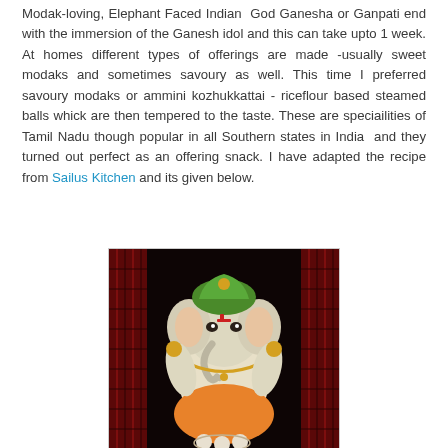Modak-loving, Elephant Faced Indian God Ganesha or Ganpati end with the immersion of the Ganesh idol and this can take upto 1 week. At homes different types of offerings are made -usually sweet modaks and sometimes savoury as well. This time I preferred savoury modaks or ammini kozhukkattai - riceflour based steamed balls whick are then tempered to the taste. These are speciailities of Tamil Nadu though popular in all Southern states in India and they turned out perfect as an offering snack. I have adapted the recipe from Sailus Kitchen and its given below.
[Figure (photo): A colorful ceramic/clay idol of Lord Ganesha (elephant-headed Hindu deity) with a green headdress, white body with orange and gold accents, seated in a traditional pose. The idol is placed against a dark red and black patterned textile background.]